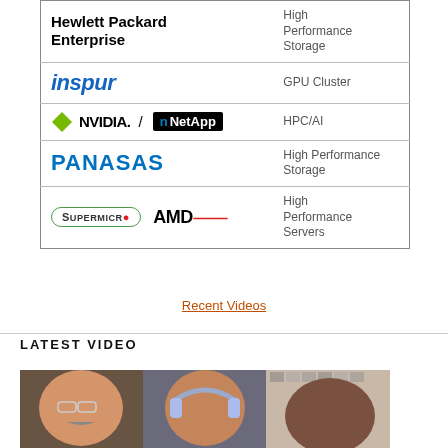| Logo | Category |
| --- | --- |
| Hewlett Packard Enterprise | High Performance Storage |
| inspur | GPU Cluster |
| NVIDIA / NetApp | HPC/AI |
| PANASAS | High Performance Storage |
| Supermicro / AMD | High Performance Servers |
Recent Videos
LATEST VIDEO
[Figure (photo): Three people in video call: man with glasses and mustache on left, man with headphones center, dark-skinned man on right]